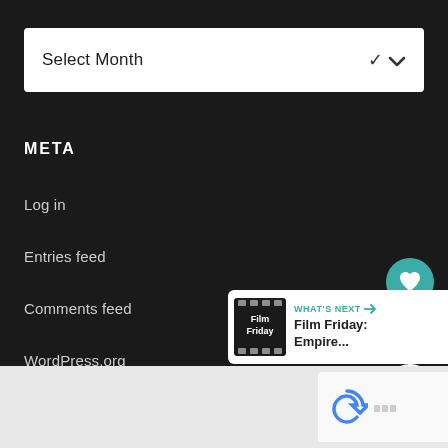[Figure (screenshot): Dropdown select box with 'Select Month' text and chevron arrow on white background]
META
Log in
Entries feed
Comments feed
WordPress.org
[Figure (infographic): Teal circular heart/like button, white circular count bubble showing 3, white circular share button]
[Figure (screenshot): What's Next banner with Film Friday thumbnail and title 'Film Friday: Empire...']
[Figure (screenshot): reCAPTCHA widget area at bottom right]